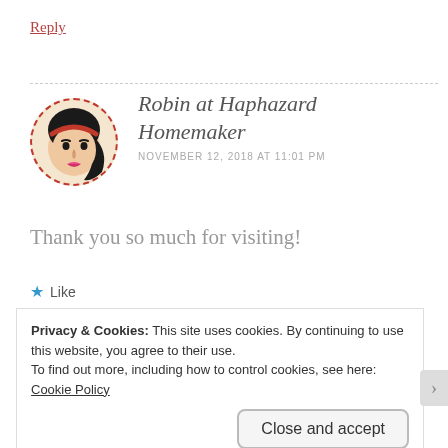Reply
Robin at Haphazard Homemaker
NOVEMBER 12, 2018 AT 11:01 PM
Thank you so much for visiting!
★ Like
Privacy & Cookies: This site uses cookies. By continuing to use this website, you agree to their use.
To find out more, including how to control cookies, see here:
Cookie Policy
Close and accept